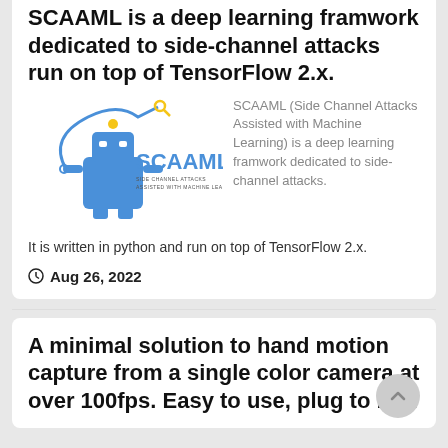SCAAML is a deep learning framwork dedicated to side-channel attacks run on top of TensorFlow 2.x.
[Figure (logo): SCAAML logo — blue robot with antenna connected by blue wire, with 'SCAAML' wordmark and subtitle 'SIDE CHANNEL ATTACKS ASSISTED WITH MACHINE LEARNING']
SCAAML (Side Channel Attacks Assisted with Machine Learning) is a deep learning framwork dedicated to side-channel attacks. It is written in python and run on top of TensorFlow 2.x.
Aug 26, 2022
A minimal solution to hand motion capture from a single color camera at over 100fps. Easy to use, plug to run.